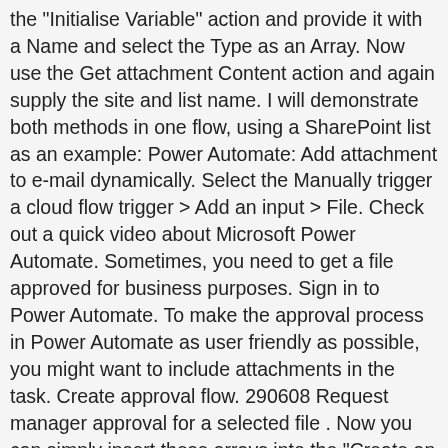the "Initialise Variable" action and provide it with a Name and select the Type as an Array. Now use the Get attachment Content action and again supply the site and list name. I will demonstrate both methods in one flow, using a SharePoint list as an example: Power Automate: Add attachment to e-mail dynamically. Select the Manually trigger a cloud flow trigger > Add an input > File. Check out a quick video about Microsoft Power Automate. Sometimes, you need to get a file approved for business purposes. Sign in to Power Automate. To make the approval process in Power Automate as user friendly as possible, you might want to include attachments in the task. Create approval flow. 290608 Request manager approval for a selected file . Now you can simply insert these arrays into the "Create an Approval" or "Send an email(V2)" actions. However, it fails on the content bytes. I was going crazy with this!! Watch it now Build your skills. In the Expense Approvals list I added some appropriate metadata for this scenario, such as tr… You can then approve or reject requests from the email, the